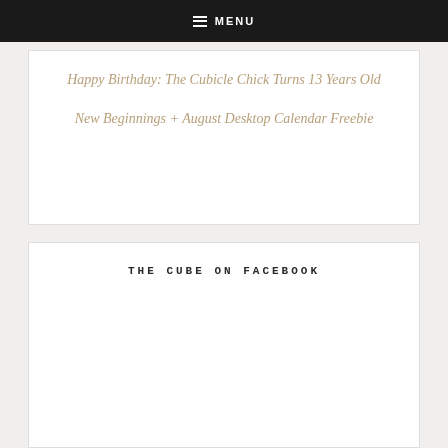MENU
Happy Birthday: The Cubicle Chick Turns 13 Years Old
New Beginnings + August Desktop Calendar Freebie
THE CUBE ON FACEBOOK